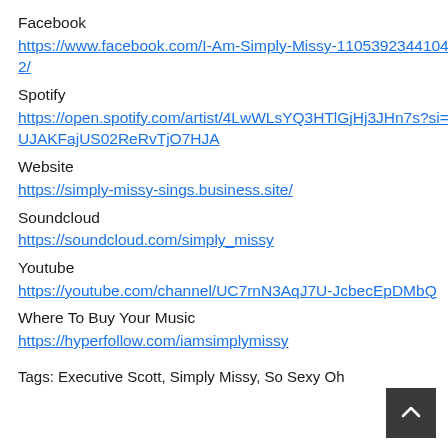Facebook
https://www.facebook.com/I-Am-Simply-Missy-110539234410472/
Spotify
https://open.spotify.com/artist/4LwWLsYQ3HTlGjHj3JHn7s?si=UJAKFajUS02ReRvTjO7HJA
Website
https://simply-missy-sings.business.site/
Soundcloud
https://soundcloud.com/simply_missy
Youtube
https://youtube.com/channel/UC7rnN3AqJ7U-JcbecEpDMbQ
Where To Buy Your Music
https://hyperfollow.com/iamsimplymissy
Tags: Executive Scott, Simply Missy, So Sexy Oh